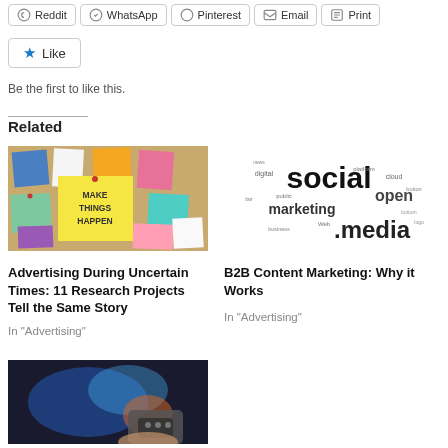Reddit | WhatsApp | Pinterest | Email | Print
Like
Be the first to like this.
Related
[Figure (photo): Cork board with colorful sticky notes, one yellow note says MAKE THINGS HAPPEN]
Advertising During Uncertain Times: 11 Research Projects Tell the Same Story
In "Advertising"
[Figure (infographic): Social media word cloud with prominent words: social, open, marketing, media]
B2B Content Marketing: Why it Works
In "Advertising"
[Figure (photo): Hand holding a TV remote control in front of a blurred screen with colorful visuals]